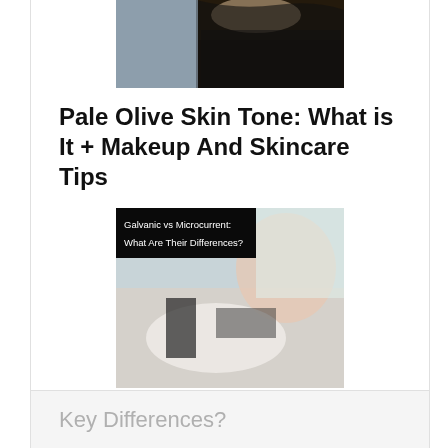[Figure (photo): Partial view of a woman wearing a black lace top, cropped to show shoulders and chest area]
Pale Olive Skin Tone: What is It + Makeup And Skincare Tips
[Figure (photo): A skincare professional in white coat and mask performing a facial treatment on a woman lying down, with a text overlay reading 'Galvanic vs Microcurrent: What Are Their Differences?']
Galvanic vs Microcurrent: What Are Their Key Differences?